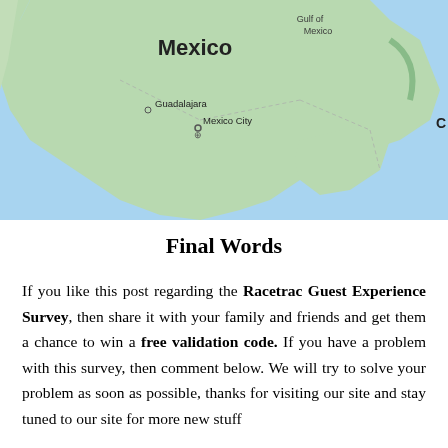[Figure (map): Google Maps screenshot showing Mexico, with labels for Gulf of Mexico, Mexico, Guadalajara, Mexico City, and a partial label C on the right edge. Light blue ocean surrounds green landmass of Mexico.]
Final Words
If you like this post regarding the Racetrac Guest Experience Survey, then share it with your family and friends and get them a chance to win a free validation code. If you have a problem with this survey, then comment below. We will try to solve your problem as soon as possible, thanks for visiting our site and stay tuned to our site for more new stuff